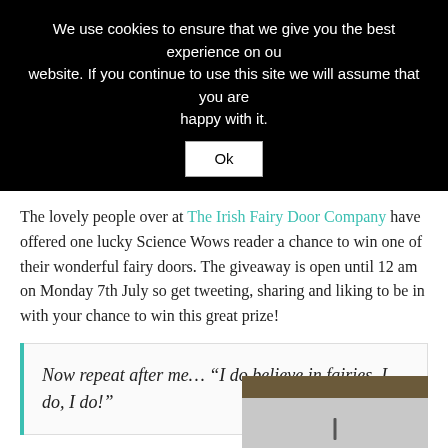We use cookies to ensure that we give you the best experience on our website. If you continue to use this site we will assume that you are happy with it.
Ok
The lovely people over at The Irish Fairy Door Company have offered one lucky Science Wows reader a chance to win one of their wonderful fairy doors. The giveaway is open until 12 am on Monday 7th July so get tweeting, sharing and liking to be in with your chance to win this great prize!
Now repeat after me… “I do believe in fairies, I do, I do!”
[Figure (photo): Partial photo of what appears to be a fairy door or related object, with a dark brown top band and grey/white lower area]